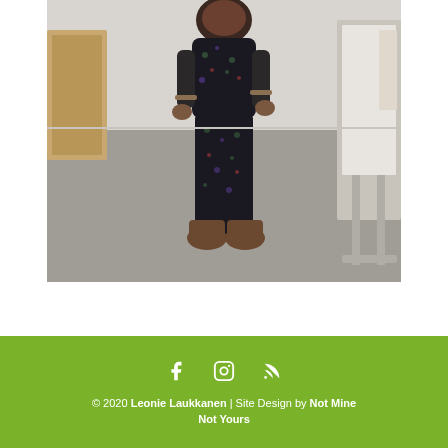[Figure (photo): A person standing in a dark floral jumpsuit and brown ankle boots in what appears to be an office or conference room. There is a whiteboard or display stand to the right and a wooden cabinet to the left.]
© 2020 Leonie Laukkanen | Site Design by Not Mine Not Yours